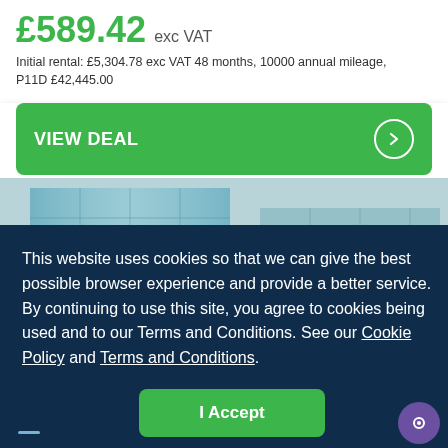£589.42 exc VAT
Initial rental: £5,304.78 exc VAT 48 months, 10000 annual mileage, P11D £42,445.00
VIEW DEAL
[Figure (photo): Glass office building exterior, modern architecture]
This website uses cookies so that we can give the best possible browser experience and provide a better service. By continuing to use this site, you agree to cookies being used and to our Terms and Conditions. See our Cookie Policy and Terms and Conditions.
I Accept